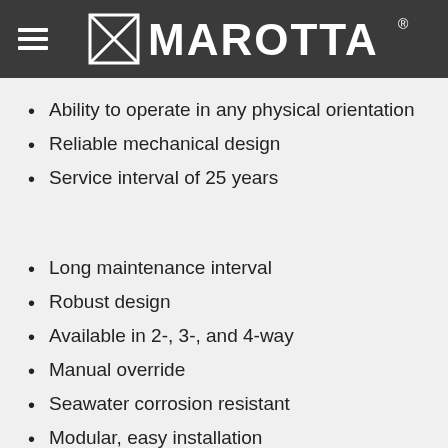MAROTTA
Ability to operate in any physical orientation
Reliable mechanical design
Service interval of 25 years
Long maintenance interval
Robust design
Available in 2-, 3-, and 4-way
Manual override
Seawater corrosion resistant
Modular, easy installation